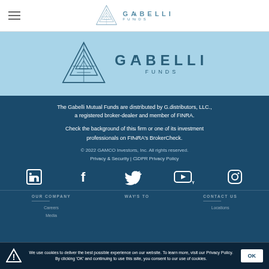Gabelli Funds navigation header with hamburger menu and logo
[Figure (logo): Gabelli Funds logo in light blue hero section with triangle graphic and GABELLI FUNDS text]
The Gabelli Mutual Funds are distributed by G.distributors, LLC., a registered broker-dealer and member of FINRA.
Check the background of this firm or one of its investment professionals on FINRA's BrokerCheck.
© 2022 GAMCO Investors, Inc. All rights reserved.
Privacy & Security | GDPR Privacy Policy
[Figure (infographic): Row of 5 social media icons: LinkedIn, Facebook, Twitter, YouTube, Instagram]
OUR COMPANY
WAYS TO
CONTACT US
We use cookies to deliver the best possible experience on our website. To learn more, visit our Privacy Policy. By clicking 'OK' and continuing to use this site, you consent to our use of cookies.